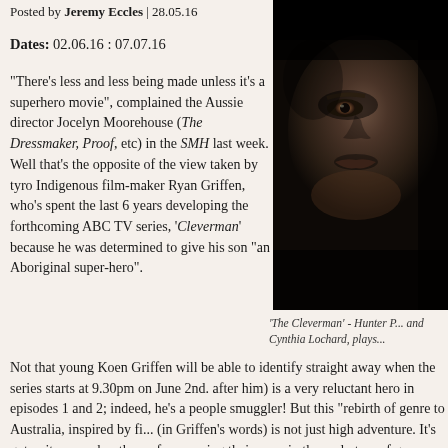Posted by Jeremy Eccles | 28.05.16
Dates: 02.06.16 : 07.07.16
“There’s less and less being made unless it’s a superhero movie”, complained the Aussie director Jocelyn Moorehouse (The Dressmaker, Proof, etc) in the SMH last week. Well that’s the opposite of the view taken by tyro Indigenous film-maker Ryan Griffen, who’s spent the last 6 years developing the forthcoming ABC TV series, ‘Cleverman’ because he was determined to give his son “an Aboriginal super-hero”.
[Figure (photo): Dark close-up portrait of a face, likely a character from 'The Cleverman' TV series]
'The Cleverman' - Hunter P... and Cynthia Lochard, plays...
Not that young Koen Griffen will be able to identify straight away when the series starts at 9.30pm on June 2nd. after him) is a very reluctant hero in episodes 1 and 2; indeed, he’s a people smuggler! But this “rebirth of genre to Australia, inspired by fi... (in Griffen’s words) is not just high adventure. It’s got quite a number the surface waving their arms in the undertow of genre – Aboriginal p... the role of our Border Force, the role of the media, IVF, Cain & Able,